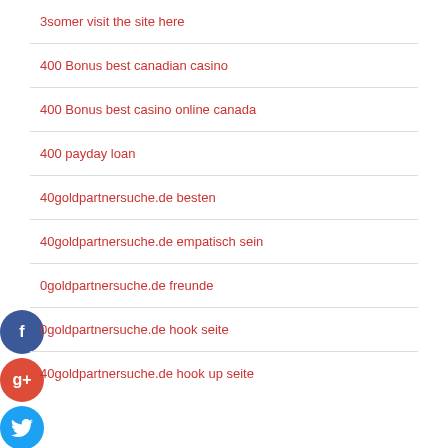3somer visit the site here
400 Bonus best canadian casino
400 Bonus best casino online canada
400 payday loan
40goldpartnersuche.de besten
40goldpartnersuche.de empatisch sein
0goldpartnersuche.de freunde
0goldpartnersuche.de hook seite
40goldpartnersuche.de hook up seite